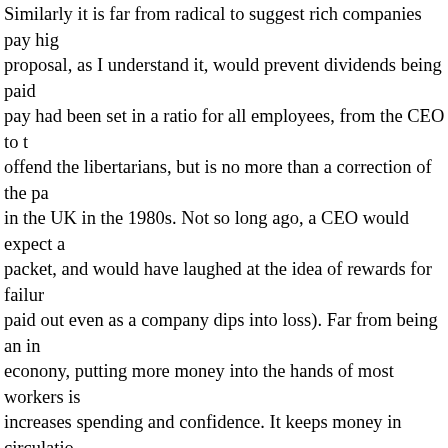Similarly it is far from radical to suggest rich companies pay high proposal, as I understand it, would prevent dividends being paid pay had been set in a ratio for all employees, from the CEO to t offend the libertarians, but is no more than a correction of the p in the UK in the 1980s. Not so long ago, a CEO would expect a packet, and would have laughed at the idea of rewards for failur paid out even as a company dips into loss). Far from being an i econony, putting more money into the hands of most workers is increases spending and confidence. It keeps money in circulatio rewards to the super rich get squirreled away in non-productive
Pay is maybe the issue, but the question is how far are our lead polloi on something closer to the average, and can the imbalanc corrected before another crash, when we might all feel a wee bi there's nothing like the immolation of an arrogant rich man to m
Walking down the North Bridge towards the statue of the Duke o Edinburgh, I often see the Socialist Party campaigning for a £10 thoughts occur – the first is admiration for people who still think world with a loud-hailer and a trestle table, the second is how m